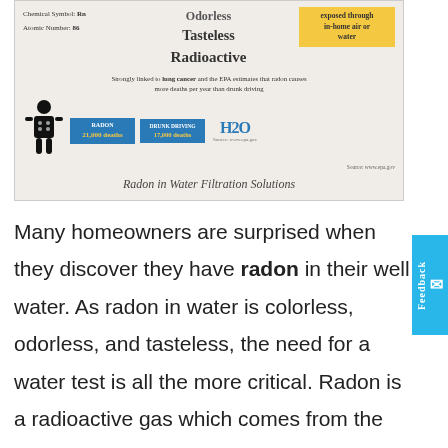[Figure (infographic): Radon in Water Filtration Solutions infographic showing radon properties (Odorless, Tasteless, Radioactive), chemical symbol Rn, atomic number 86, ways to be exposed through in-home air or water, health risks including lung cancer link, and EPA statistics comparing radon deaths (21,000) to drunk driving deaths (17,000)]
Radon in Water Filtration Solutions
Many homeowners are surprised when they discover they have radon in their well water. As radon in water is colorless, odorless, and tasteless, the need for a water test is all the more critical. Radon is a radioactive gas which comes from the natural decay of uranium found in nearly all soils. Radon in water is not a problem until the gas escapes the water as it enters your home through faucets, showers